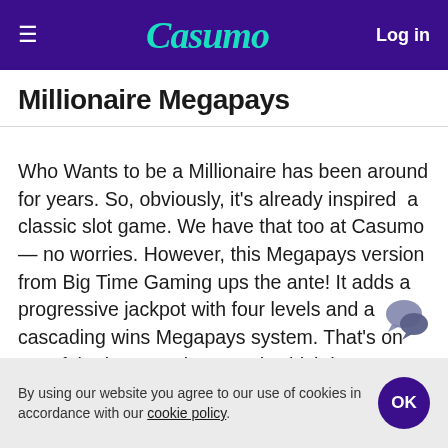Casumo — Log in
Millionaire Megapays
Who Wants to be a Millionaire has been around for years. So, obviously, it's already inspired  a classic slot game. We have that too at Casumo — no worries. However, this Megapays version from Big Time Gaming ups the ante! It adds a progressive jackpot with four levels and a cascading wins Megapays system. That's on top of the bonus spins round, which has some unique mechanics inspired by the show. For example, you can wager your bonus spins with the Hot Seat Gamble Featu…
By using our website you agree to our use of cookies in accordance with our cookie policy.